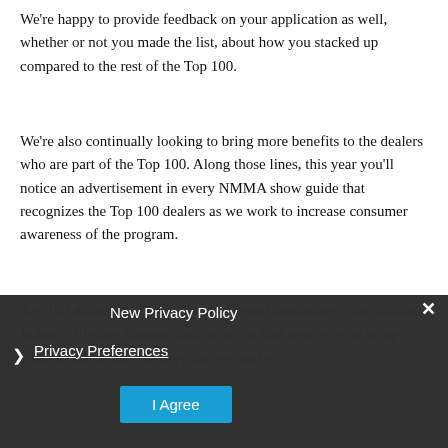We're happy to provide feedback on your application as well, whether or not you made the list, about how you stacked up compared to the rest of the Top 100.
We're also continually looking to bring more benefits to the dealers who are part of the Top 100. Along those lines, this year you'll notice an advertisement in every NMMA show guide that recognizes the Top 100 dealers as we work to increase consumer awareness of the program.
Top 100 dealers also receive a discounted admission to the Boating Industry Elevate Summit, and we try to find new ways to bring value to the dealers, so keep an eye out for…
[Figure (screenshot): Cookie/privacy consent overlay with 'New Privacy Policy' title, 'Privacy Preferences' link with right arrow, 'I Agree' blue button, and X close button]